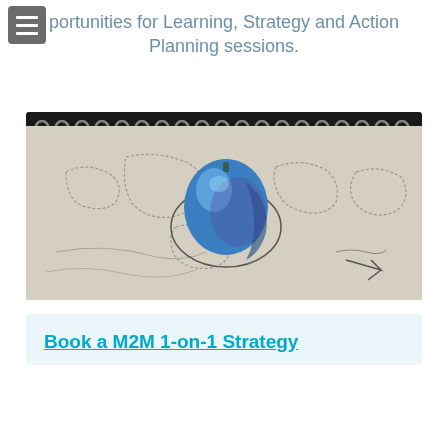portunities for Learning, Strategy and Action Planning sessions.
[Figure (photo): A blue 3D globe or figure placed on top of a hand-drawn world map on a spiral notebook, photographed in black and white with the blue figure in color.]
Book a M2M 1-on-1 Strategy